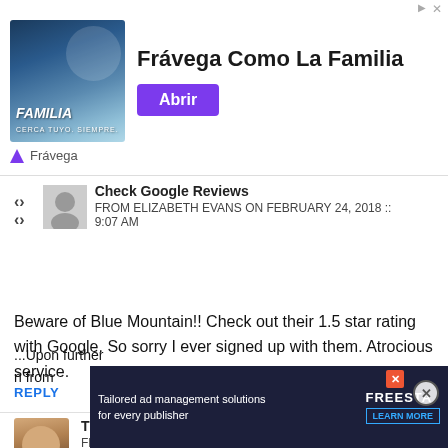[Figure (screenshot): Ad banner for Frávega Como La Familia with purple button 'Abrir']
Check Google Reviews
FROM ELIZABETH EVANS ON FEBRUARY 24, 2018 :: 9:07 AM
Beware of Blue Mountain!! Check out their 1.5 star rating with Google. So sorry I ever signed up with them. Atrocious service.
REPLY
Thank you for f...
FROM SUZANN... 2018 :: 11:24 AM
[Figure (screenshot): Video ad overlay showing 'Still worth it?' with Apple device image]
[Figure (screenshot): Bottom overlay ad: Tailored ad management solutions for every publisher - Freestar]